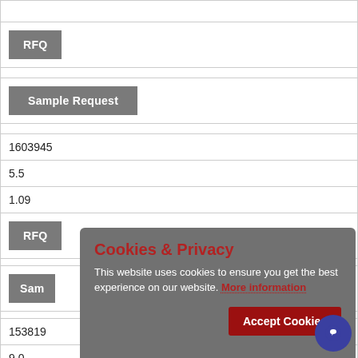| RFQ |
| Sample Request |
| 1603945 |
| 5.5 |
| 1.09 |
| RFQ |
| Sample Request |
| 153819 |
| 9.0 |
| 0.66 |
[Figure (screenshot): Cookies & Privacy modal overlay with dark gray background. Title 'Cookies & Privacy' in dark red. Body text 'This website uses cookies to ensure you get the best experience on our website. More information' with 'More information' in dark red underlined. Dark red 'Accept Cookies' button at bottom right.]